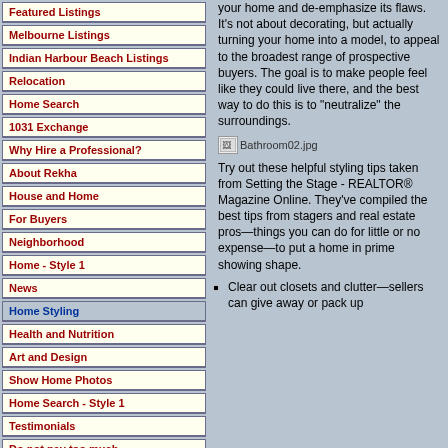Featured Listings
Melbourne Listings
Indian Harbour Beach Listings
Relocation
Home Search
1031 Exchange
Why Hire a Professional?
About Rekha
House and Home
For Buyers
Neighborhood
Home - Style 1
News
Home Styling
Health and Nutrition
Art and Design
Show Home Photos
Home Search - Style 1
Testimonials
Do not pay too much
your home and de-emphasize its flaws. It's not about decorating, but actually turning your home into a model, to appeal to the broadest range of prospective buyers. The goal is to make people feel like they could live there, and the best way to do this is to "neutralize" the surroundings.
[Figure (photo): Broken image placeholder for Bathroom02.jpg]
Try out these helpful styling tips taken from Setting the Stage - REALTOR® Magazine Online. They've compiled the best tips from stagers and real estate pros—things you can do for little or no expense—to put a home in prime showing shape.
Clear out closets and clutter—sellers can give away or pack up